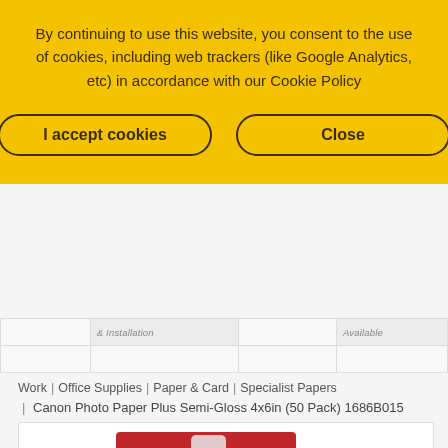By continuing to use this website, you consent to the use of cookies, including web trackers (like Google Analytics, etc) in accordance with our Cookie Policy
[Figure (screenshot): Cookie consent banner with yellow background, two buttons: 'I accept cookies' and 'Close', both with rounded pill outlines]
| & Installation |  | Available |
Work | Office Supplies | Paper & Card | Specialist Papers | Canon Photo Paper Plus Semi-Gloss 4x6in (50 Pack) 1686B015
[Figure (photo): Canon Photo Paper Plus Semi-Gloss product box, red packaging with Canon logo and blue photo image visible, 10x15cm size indicated]